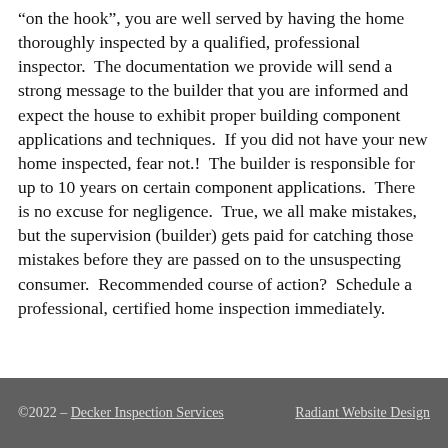“on the hook”, you are well served by having the home thoroughly inspected by a qualified, professional inspector.  The documentation we provide will send a strong message to the builder that you are informed and expect the house to exhibit proper building component applications and techniques.  If you did not have your new home inspected, fear not.!  The builder is responsible for up to 10 years on certain component applications.  There is no excuse for negligence.  True, we all make mistakes, but the supervision (builder) gets paid for catching those mistakes before they are passed on to the unsuspecting consumer.  Recommended course of action?  Schedule a professional, certified home inspection immediately.
©2022 - Decker Inspection Services | Radiant Website Design